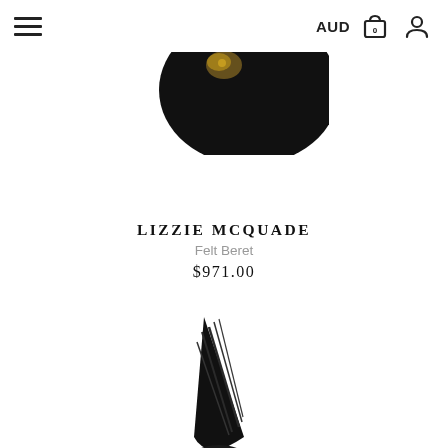AUD
[Figure (photo): Black felt beret hat with gold embellishment detail, shown cropped at top of page on white background]
LIZZIE MCQUADE
Felt Beret
$971.00
[Figure (photo): Black sparkly/sequined fascinator hat shaped like a cone/heel on a black headband, shown on white background]